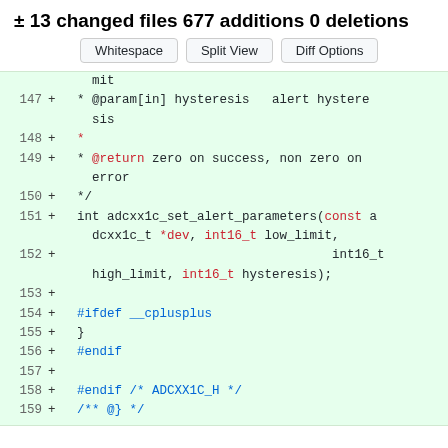± 13 changed files  677 additions  0 deletions
[Figure (screenshot): GitHub diff view with Whitespace, Split View, Diff Options buttons and code diff lines 147-159 showing additions to a C header file]
147 + * @param[in] hysteresis   alert hysteresis
148 + *
149 + * @return zero on success, non zero on error
150 + * */
151 + int adcxx1c_set_alert_parameters(const adcxx1c_t *dev, int16_t low_limit,
152 +                                             int16_t high_limit, int16_t hysteresis);
153 +
154 + #ifdef __cplusplus
155 + }
156 + #endif
157 +
158 + #endif /* ADCXX1C_H */
159 + /** @} */